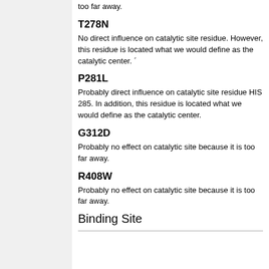too far away.
T278N
No direct influence on catalytic site residue. However, this residue is located what we would define as the catalytic center. ´
P281L
Probably direct influence on catalytic site residue HIS 285. In addition, this residue is located what we would define as the catalytic center.
G312D
Probably no effect on catalytic site because it is too far away.
R408W
Probably no effect on catalytic site because it is too far away.
Binding Site